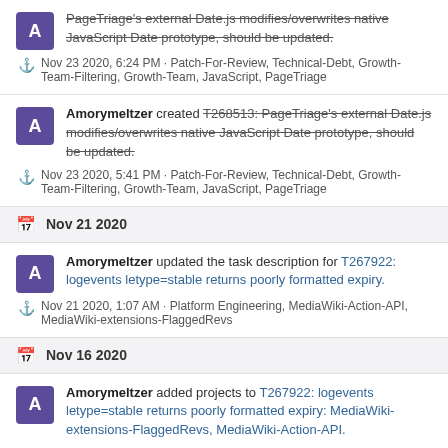Amorymeltzer — PageTriage's external Date.js modifies/overwrites native JavaScript Date prototype, should be updated. Nov 23 2020, 6:24 PM · Patch-For-Review, Technical-Debt, Growth-Team-Filtering, Growth-Team, JavaScript, PageTriage
Amorymeltzer created T268513: PageTriage's external Date.js modifies/overwrites native JavaScript Date prototype, should be updated. Nov 23 2020, 5:41 PM · Patch-For-Review, Technical-Debt, Growth-Team-Filtering, Growth-Team, JavaScript, PageTriage
Nov 21 2020
Amorymeltzer updated the task description for T267922: logevents letype=stable returns poorly formatted expiry. Nov 21 2020, 1:07 AM · Platform Engineering, MediaWiki-Action-API, MediaWiki-extensions-FlaggedRevs
Nov 16 2020
Amorymeltzer added projects to T267922: logevents letype=stable returns poorly formatted expiry: MediaWiki-extensions-FlaggedRevs, MediaWiki-Action-API.